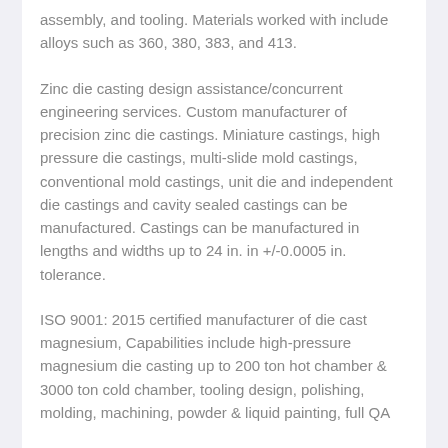assembly, and tooling. Materials worked with include alloys such as 360, 380, 383, and 413.
Zinc die casting design assistance/concurrent engineering services. Custom manufacturer of precision zinc die castings. Miniature castings, high pressure die castings, multi-slide mold castings, conventional mold castings, unit die and independent die castings and cavity sealed castings can be manufactured. Castings can be manufactured in lengths and widths up to 24 in. in +/-0.0005 in. tolerance.
ISO 9001: 2015 certified manufacturer of die cast magnesium, Capabilities include high-pressure magnesium die casting up to 200 ton hot chamber & 3000 ton cold chamber, tooling design, polishing, molding, machining, powder & liquid painting, full QA